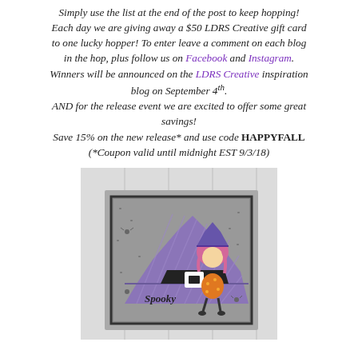Simply use the list at the end of the post to keep hopping! Each day we are giving away a $50 LDRS Creative gift card to one lucky hopper! To enter leave a comment on each blog in the hop, plus follow us on Facebook and Instagram. Winners will be announced on the LDRS Creative inspiration blog on September 4th. AND for the release event we are excited to offer some great savings! Save 15% on the new release* and use code HAPPYFALL (*Coupon valid until midnight EST 9/3/18)
[Figure (photo): A Halloween-themed craft card featuring a large purple witch hat with diagonal stripe pattern, a small cute anime-style girl with pink hair wearing a witch hat and orange polka-dot dress, small spider embellishments, and the word 'Spooky' written in script on the hat. The card has a grey textured background.]